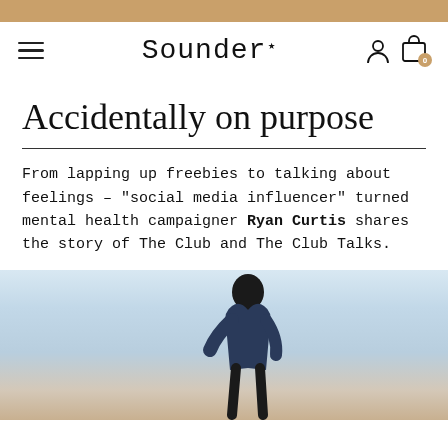Sounder
Accidentally on purpose
From lapping up freebies to talking about feelings – "social media influencer" turned mental health campaigner Ryan Curtis shares the story of The Club and The Club Talks.
[Figure (photo): A person standing outdoors against a light sky background, viewed from below/mid angle, wearing a dark t-shirt.]